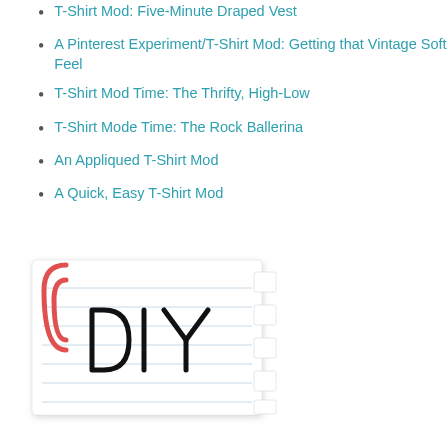T-Shirt Mod: Five-Minute Draped Vest
A Pinterest Experiment/T-Shirt Mod: Getting that Vintage Soft Feel
T-Shirt Mod Time: The Thrifty, High-Low
T-Shirt Mode Time: The Rock Ballerina
An Appliqued T-Shirt Mod
A Quick, Easy T-Shirt Mod
[Figure (photo): A lined notepad with a red paper clip on the left side and the text 'DIY' written in large hand-drawn style letters, with torn tab edges on the right side.]